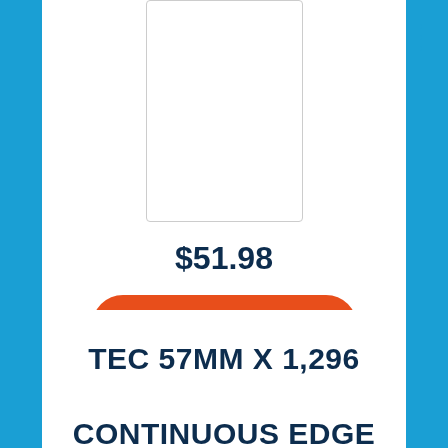[Figure (screenshot): Product image placeholder — white rectangle with thin border]
$51.98
ADD TO CART
TEC 57MM X 1,296 CONTINUOUS EDGE TO